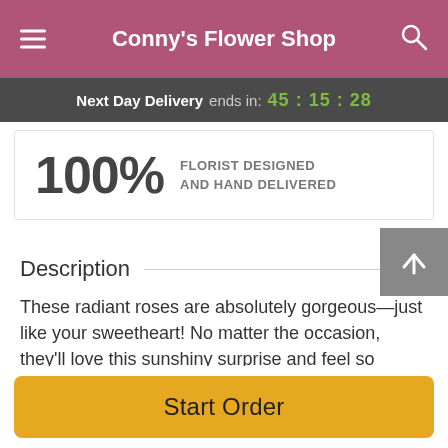Conny's Flower Shop
Next Day Delivery ends in: 45:15:28
100% FLORIST DESIGNED AND HAND DELIVERED
Description
These radiant roses are absolutely gorgeous—just like your sweetheart! No matter the occasion, they'll love this sunshiny surprise and feel so cherished by your thoughtful gesture.
Delight your special someone with one dozen yellow roses
Start Order